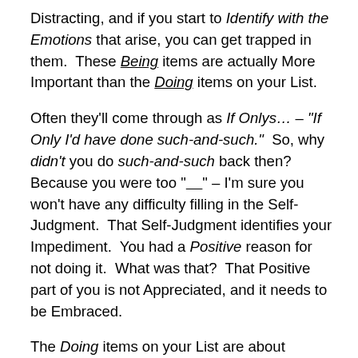Distracting, and if you start to Identify with the Emotions that arise, you can get trapped in them. These Being items are actually More Important than the Doing items on your List.
Often they'll come through as If Onlys… – "If Only I'd have done such-and-such." So, why didn't you do such-and-such back then? Because you were too "____" – I'm sure you won't have any difficulty filling in the Self-Judgment. That Self-Judgment identifies your Impediment. You had a Positive reason for not doing it. What was that? That Positive part of you is not Appreciated, and it needs to be Embraced.
The Doing items on your List are about Improving your Ability to Manifest What You Want (Juno-Makemake), while the Being items will be about Letting Go of your